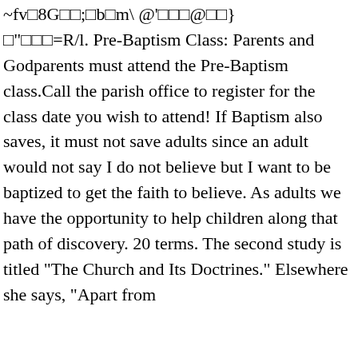~fv�8G��;�b�m\ @'���@��} �"���=R/l. Pre-Baptism Class: Parents and Godparents must attend the Pre-Baptism class.Call the parish office to register for the class date you wish to attend! If Baptism also saves, it must not save adults since an adult would not say I do not believe but I want to be baptized to get the faith to believe. As adults we have the opportunity to help children along that path of discovery. 20 terms. The second study is titled "The Church and Its Doctrines." Elsewhere she says, "Apart from